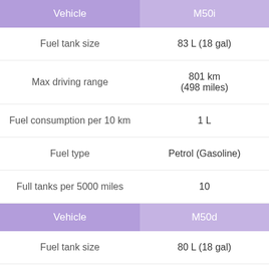| Vehicle | M50i |
| --- | --- |
| Fuel tank size | 83 L (18 gal) |
| Max driving range | 801 km
(498 miles) |
| Fuel consumption per 10 km | 1 L |
| Fuel type | Petrol (Gasoline) |
| Full tanks per 5000 miles | 10 |
| Vehicle | M50d |
| --- | --- |
| Fuel tank size | 80 L (18 gal) |
|  | 1081 km |